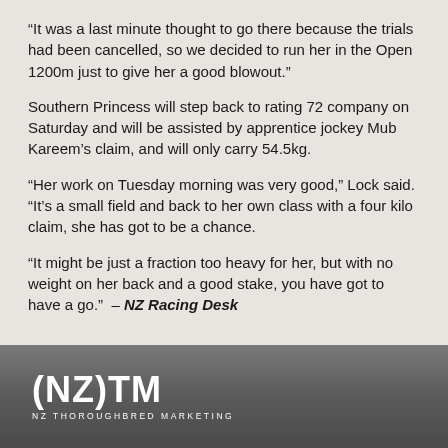“It was a last minute thought to go there because the trials had been cancelled, so we decided to run her in the Open 1200m just to give her a good blowout.”
Southern Princess will step back to rating 72 company on Saturday and will be assisted by apprentice jockey Mub Kareem’s claim, and will only carry 54.5kg.
“Her work on Tuesday morning was very good,” Lock said. “It’s a small field and back to her own class with a four kilo claim, she has got to be a chance.
“It might be just a fraction too heavy for her, but with no weight on her back and a good stake, you have got to have a go.” – NZ Racing Desk
[Figure (logo): NZ Thoroughbred Marketing logo - (NZ)TM with text NZ THOROUGHBRED MARKETING below]